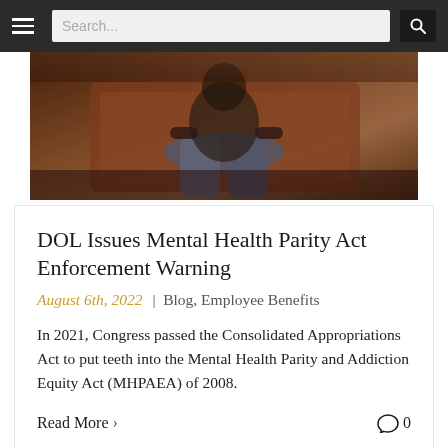Search...
[Figure (photo): A person sitting in a chair, viewed from a low angle, wearing jeans, in a dimly lit warm-toned room]
DOL Issues Mental Health Parity Act Enforcement Warning
August 6th, 2022 | Blog, Employee Benefits
In 2021, Congress passed the Consolidated Appropriations Act to put teeth into the Mental Health Parity and Addiction Equity Act (MHPAEA) of 2008.
Read More > 0